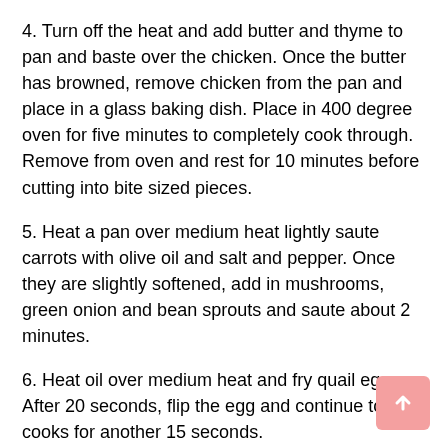4. Turn off the heat and add butter and thyme to pan and baste over the chicken. Once the butter has browned, remove chicken from the pan and place in a glass baking dish. Place in 400 degree oven for five minutes to completely cook through. Remove from oven and rest for 10 minutes before cutting into bite sized pieces.
5. Heat a pan over medium heat lightly saute carrots with olive oil and salt and pepper. Once they are slightly softened, add in mushrooms, green onion and bean sprouts and saute about 2 minutes.
6. Heat oil over medium heat and fry quail eggs. After 20 seconds, flip the egg and continue to cooks for another 15 seconds.
7. Prepare ramen noodles using package instructions.
8. Divide ramen noodles into two bowls and ladle with broth. Top with carrots, mushrooms, bean sprouts, quail egg,